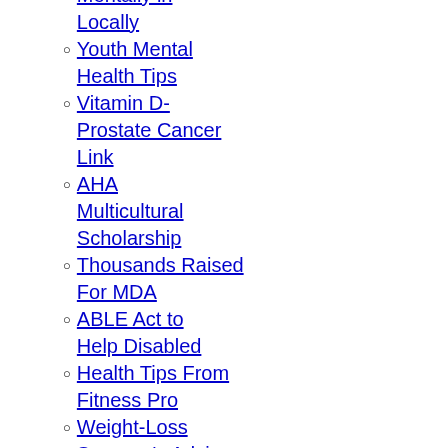Mentally in Locally
Youth Mental Health Tips
Vitamin D-Prostate Cancer Link
AHA Multicultural Scholarship
Thousands Raised For MDA
ABLE Act to Help Disabled
Health Tips From Fitness Pro
Weight-Loss Surgeon's Advice
Technology
Connect SC & IT-oLogy Team Up
Videogame Charity Program
Black Internet Startup Book